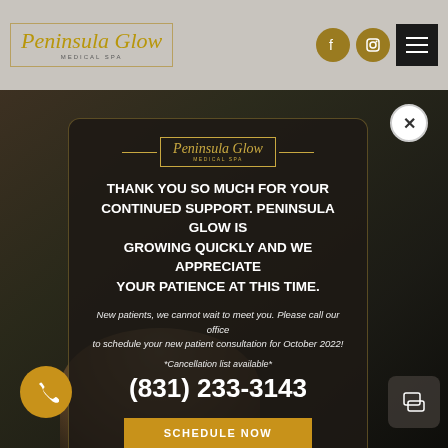[Figure (logo): Peninsula Glow Medical Spa logo with script font inside a rectangular border]
[Figure (screenshot): Modal popup on medical spa website with team photo background. Contains Peninsula Glow logo, thank you message, phone number, and schedule button.]
THANK YOU SO MUCH FOR YOUR CONTINUED SUPPORT. PENINSULA GLOW IS GROWING QUICKLY AND WE APPRECIATE YOUR PATIENCE AT THIS TIME.
New patients, we cannot wait to meet you. Please call our office to schedule your new patient consultation for October 2022!
*Cancellation list available*
(831) 233-3143
SCHEDULE NOW